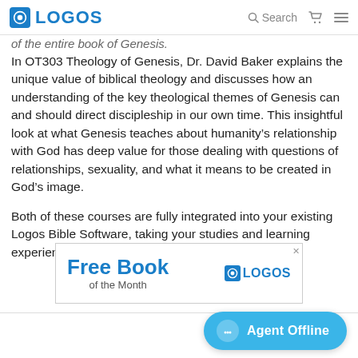LOGOS  Search
of the entire book of Genesis.
In OT303 Theology of Genesis, Dr. David Baker explains the unique value of biblical theology and discusses how an understanding of the key theological themes of Genesis can and should direct discipleship in our own time. This insightful look at what Genesis teaches about humanity's relationship with God has deep value for those dealing with questions of relationships, sexuality, and what it means to be created in God's image.
Both of these courses are fully integrated into your existing Logos Bible Software, taking your studies and learning experience to new levels.
[Figure (advertisement): Advertisement banner for Logos 'Free Book of the Month' promotion with Logos logo on the right and a close (x) button at top right.]
Agent Offline